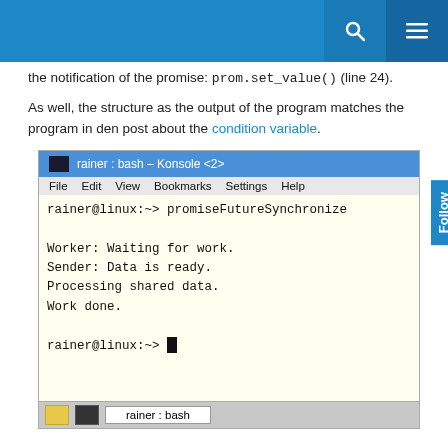the notification of the promise: prom.set_value() (line 24).
As well, the structure as the output of the program matches the program in den post about the condition variable.
[Figure (screenshot): Terminal window (Konsole) titled 'rainer : bash - Konsole <2>' showing command 'promiseFutureSynchronize' with output: Worker: Waiting for work. / Sender: Data is ready. / Processing shared data. / Work done. / rainer@linux:~>]
What's next?
So that was the overview of the multithreading interface. Now it's